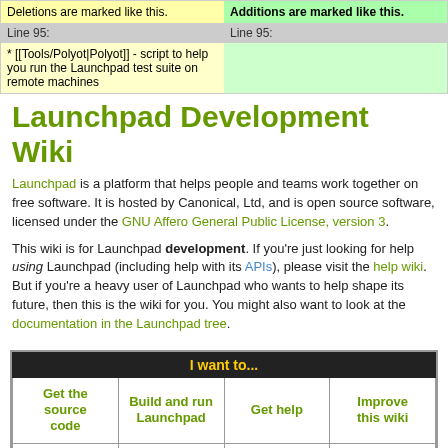|  |  |
| --- | --- |
| Deletions are marked like this. | Additions are marked like this. |
| Line 95: | Line 95: |
| * [[Tools/Polyot|Polyot]] - script to help you run the Launchpad test suite on remote machines |  |
Launchpad Development Wiki
Launchpad is a platform that helps people and teams work together on free software. It is hosted by Canonical, Ltd, and is open source software, licensed under the GNU Affero General Public License, version 3.
This wiki is for Launchpad development. If you're just looking for help using Launchpad (including help with its APIs), please visit the help wiki. But if you're a heavy user of Launchpad who wants to help shape its future, then this is the wiki for you. You might also want to look at the documentation in the Launchpad tree.
| I want to... |
| --- |
| Get the source code | Build and run Launchpad | Get help | Improve this wiki |
| Navigate | Find a bug to | Submit | Read the |